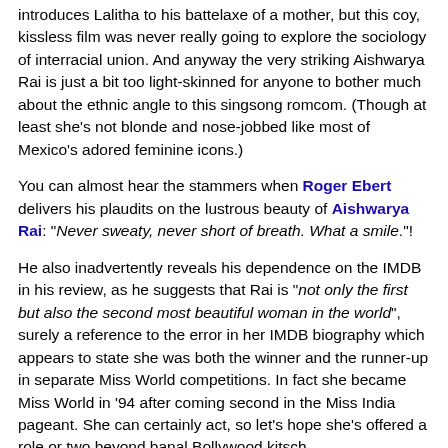introduces Lalitha to his battelaxe of a mother, but this coy, kissless film was never really going to explore the sociology of interracial union. And anyway the very striking Aishwarya Rai is just a bit too light-skinned for anyone to bother much about the ethnic angle to this singsong romcom. (Though at least she's not blonde and nose-jobbed like most of Mexico's adored feminine icons.)
You can almost hear the stammers when Roger Ebert delivers his plaudits on the lustrous beauty of Aishwarya Rai: "Never sweaty, never short of breath. What a smile."!
He also inadvertently reveals his dependence on the IMDB in his review, as he suggests that Rai is "not only the first but also the second most beautiful woman in the world", surely a reference to the error in her IMDB biography which appears to state she was both the winner and the runner-up in separate Miss World competitions. In fact she became Miss World in '94 after coming second in the Miss India pageant. She can certainly act, so let's hope she's offered a role or two beyond banal Bollywood kitsch.
Inner Diablog at 3:56 pm    No comments: